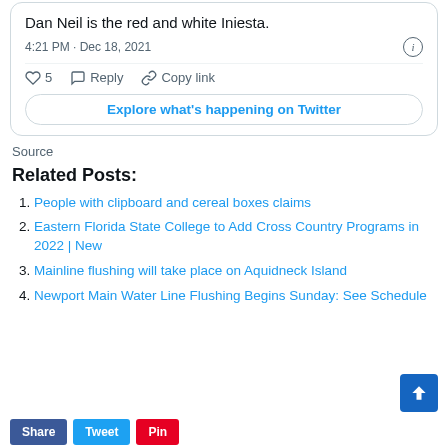[Figure (screenshot): Twitter/X tweet card showing: 'Dan Neil is the red and white Iniesta.' posted at 4:21 PM · Dec 18, 2021 with 5 likes, Reply and Copy link actions, and Explore what's happening on Twitter button]
Source
Related Posts:
People with clipboard and cereal boxes claims
Eastern Florida State College to Add Cross Country Programs in 2022 | New
Mainline flushing will take place on Aquidneck Island
Newport Main Water Line Flushing Begins Sunday: See Schedule